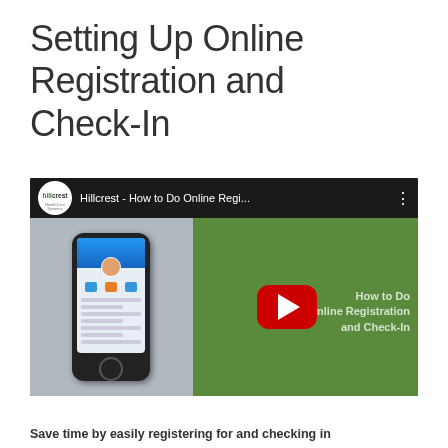Setting Up Online Registration and Check-In
[Figure (screenshot): YouTube video thumbnail for 'Hillcrest - How to Do Online Regi...' showing a mobile phone on the left side against a gray background with the Hillcrest HealthCare Systems logo and channel name in the top bar, and the right half showing a green background with text 'How to Do Online Registration and Check-In' and a red YouTube play button in the center.]
Save time by easily registering for and checking in